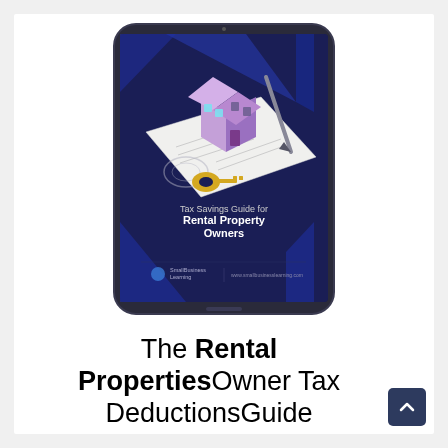[Figure (illustration): An iPad/tablet device displaying the cover of 'Tax Savings Guide for Rental Property Owners' by SmallBusiness Learning. The cover shows an isometric illustration of a house with windows on a document, with keys, a pen, and blue/purple geometric background shapes. The text on the cover reads: 'Tax Savings Guide for Rental Property Owners' with SmallBusiness Learning logo and www.smallbusinesslearning.com]
The Rental Properties Owner Tax DeductionsGuide